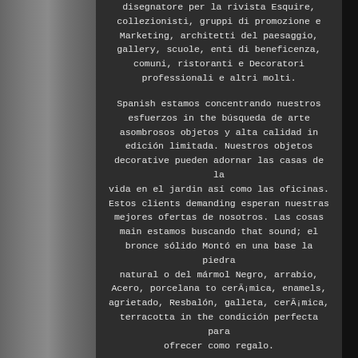disegnatore per la rivista Esquire, collezionisti, gruppi di promozione e Marketing, architetti del paesaggio, gallery, scuole, enti di beneficenza, comuni, ristoranti e Decoratori professionali e altri molti.
Spanish estamos concentrando nuestros esfuerzos in the búsqueda de arte asombrosos objetos y alta calidad in edición limitada. Nuestros objetos decorative pueden adornar las casas de la vida en el jardin así como las oficinas. Estos clients demanding esperan nuestras mejores ofertas de nosotros. Las cosas main estamos buscando that sound; el bronce sólido Montó en una base la piedra natural o del mármol Negro, arrabio, Acero, porcelana to cerÃ¡mica, enamels, agrietado, Resbalón, galleta, cerÃ¡mica, terracotta in the condición perfecta para ofrecer como regalo.
Nuestra main investigación is centra en los temas; acróbata, alsaciano, Amaltea apolo, archero, arlequín, Baco, Bañista Barco baño belleza, caja de joyería, caja del tabaco, carnicero, sostenedor Vela, botella, cenicero, centro tabla seta